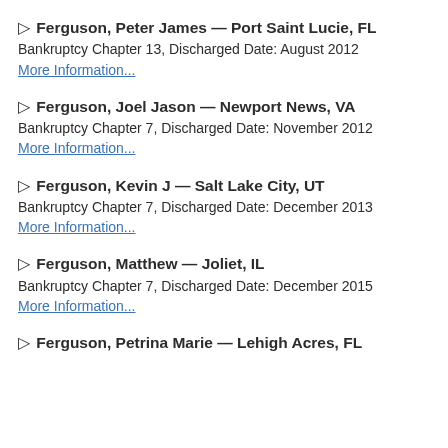▷ Ferguson, Peter James — Port Saint Lucie, FL
Bankruptcy Chapter 13, Discharged Date: August 2012
More Information...
▷ Ferguson, Joel Jason — Newport News, VA
Bankruptcy Chapter 7, Discharged Date: November 2012
More Information...
▷ Ferguson, Kevin J — Salt Lake City, UT
Bankruptcy Chapter 7, Discharged Date: December 2013
More Information...
▷ Ferguson, Matthew — Joliet, IL
Bankruptcy Chapter 7, Discharged Date: December 2015
More Information...
▷ Ferguson, Petrina Marie — Lehigh Acres, FL